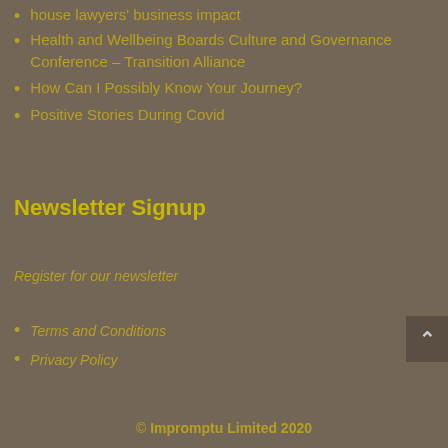house lawyers' business impact
Health and Wellbeing Boards Culture and Governance Conference – Transition Alliance
How Can I Possibly Know Your Journey?
Positive Stories During Covid
Newsletter Signup
Register for our newsletter
Terms and Conditions
Privacy Policy
© Impromptu Limited 2020